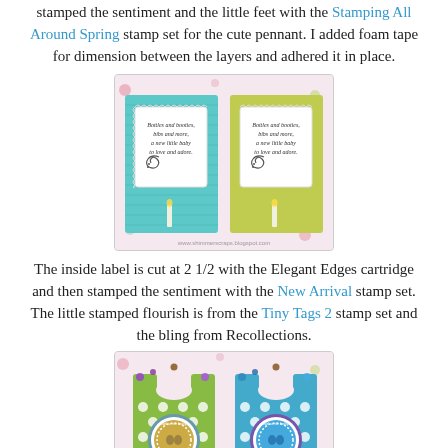stamped the sentiment and the little feet with the Stamping All Around Spring stamp set for the cute pennant. I added foam tape for dimension between the layers and adhered it in place.
[Figure (photo): Two baby-themed greeting cards side by side on floral background. Left card is teal/aqua colored, right card is green/yellow. Both feature white scalloped label with script text reading 'Bottles and booties, bibs and more, a new little baby to love and adore.' with a swirl flourish. Website watermark visible: www.shimmerscraps.blogspot.com]
The inside label is cut at 2 1/2 with the Elegant Edges cartridge and then stamped the sentiment with the New Arrival stamp set. The little stamped flourish is from the Tiny Tags 2 stamp set and the bling from Recollections.
[Figure (photo): Two baby onesie-shaped cards on floral background. Left onesie is green with white polka dots, right onesie is teal/blue with white polka dots. Both feature a circular layered medallion with baby footprints and text 'welcome baby' surrounded by decorative stitching. Purple and brown gems/bling decorate the tops of the onesies.]